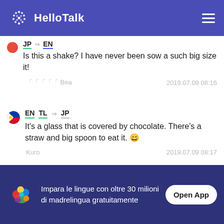[Figure (logo): HelloTalk app header with logo and hamburger menu]
JP → EN
Is this a shake? I have never been sow a such big size it!
「「「「「 Bea   2019.07.09 08:16
EN TL → JP
It's a glass that is covered by chocolate. There's a straw and big spoon to eat it. 😄
Kuro   2019.07.09 08:17
JP → EN
Impara le lingue con oltre 30 milioni di madrelingua gratuitamente
Open App